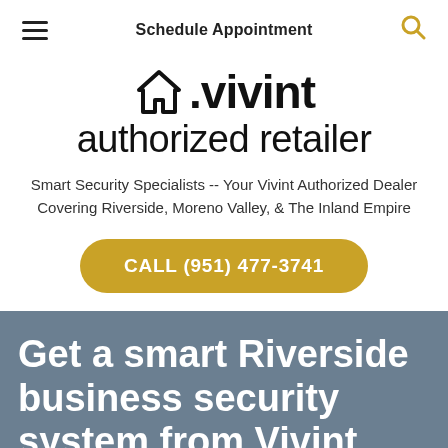Schedule Appointment
[Figure (logo): Vivint authorized retailer logo with house icon]
Smart Security Specialists -- Your Vivint Authorized Dealer Covering Riverside, Moreno Valley, & The Inland Empire
CALL (951) 477-3741
Get a smart Riverside business security system from Vivint